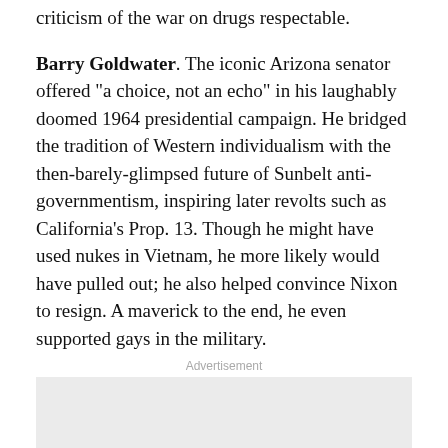criticism of the war on drugs respectable.
Barry Goldwater. The iconic Arizona senator offered "a choice, not an echo" in his laughably doomed 1964 presidential campaign. He bridged the tradition of Western individualism with the then-barely-glimpsed future of Sunbelt anti-governmentism, inspiring later revolts such as California's Prop. 13. Though he might have used nukes in Vietnam, he more likely would have pulled out; he also helped convince Nixon to resign. A maverick to the end, he even supported gays in the military.
Advertisement
[Figure (other): Advertisement placeholder box with light gray background]
F.A. Hayek. He mapped the road to serfdom during World War II and paid a steep price -- decades-long professional isolation -- for daring to suggest that social